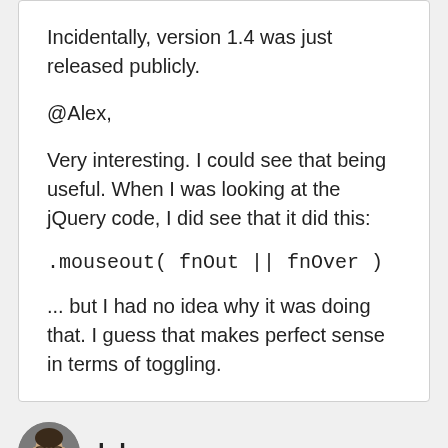Incidentally, version 1.4 was just released publicly.
@Alex,
Very interesting. I could see that being useful. When I was looking at the jQuery code, I did see that it did this:
.mouseout( fnOut || fnOver )
... but I had no idea why it was doing that. I guess that makes perfect sense in terms of toggling.
luke